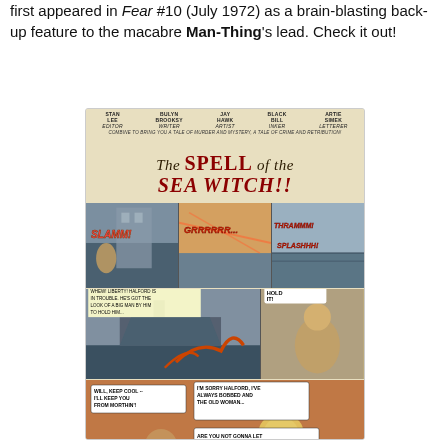first appeared in Fear #10 (July 1972) as a brain-blasting back-up feature to the macabre Man-Thing's lead. Check it out!
[Figure (illustration): A scanned comic book splash page titled 'The SPELL of the SEA WITCH!!' Credits include Stan Lee (Editor), Bulyn Brooksy (Writer), Jay Hawk (Artist), Black Bill (Inker), Artie Simek (Letterer). The page shows multiple comic panels with action scenes involving a sea witch, a ship, characters fighting, and dialogue scenes in a boat.]